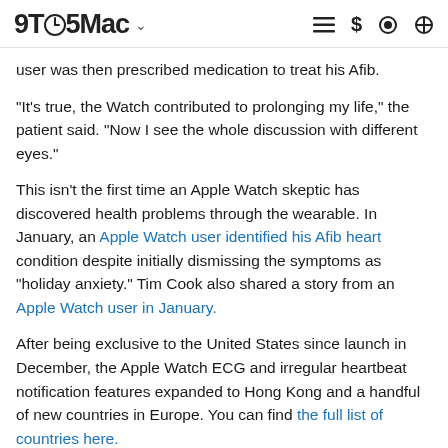9TO5Mac
user was then prescribed medication to treat his Afib.
"It's true, the Watch contributed to prolonging my life," the patient said. "Now I see the whole discussion with different eyes."
This isn't the first time an Apple Watch skeptic has discovered health problems through the wearable. In January, an Apple Watch user identified his Afib heart condition despite initially dismissing the symptoms as "holiday anxiety." Tim Cook also shared a story from an Apple Watch user in January.
After being exclusive to the United States since launch in December, the Apple Watch ECG and irregular heartbeat notification features expanded to Hong Kong and a handful of new countries in Europe. You can find the full list of countries here.